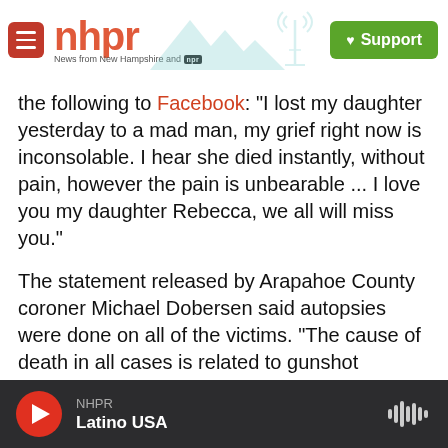nhpr — News from New Hampshire and NPR | Support
the following to Facebook: "I lost my daughter yesterday to a mad man, my grief right now is inconsolable. I hear she died instantly, without pain, however the pain is unbearable ... I love you my daughter Rebecca, we all will miss you."
The statement released by Arapahoe County coroner Michael Dobersen said autopsies were done on all of the victims. "The cause of death in all cases is related to gunshot wounds. The manner of death is homicide," according to the statement.
The suspected gunman, 24-year-old James
NHPR — Latino USA